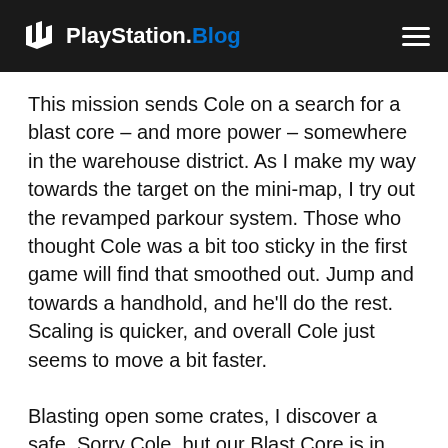PlayStation.Blog
This mission sends Cole on a search for a blast core – and more power – somewhere in the warehouse district. As I make my way towards the target on the mini-map, I try out the revamped parkour system. Those who thought Cole was a bit too sticky in the first game will find that smoothed out. Jump and towards a handhold, and he'll do the rest. Scaling is quicker, and overall Cole just seems to move a bit faster.
Blasting open some crates, I discover a safe. Sorry Cole, but our Blast Core is in another warehouse! We don't come up entirely empty-handed – inside is the deed (and location) of 3 potential hiding places for our treasure.